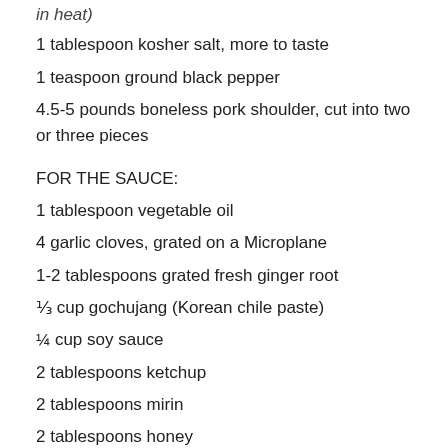in heat)
1 tablespoon kosher salt, more to taste
1 teaspoon ground black pepper
4.5-5 pounds boneless pork shoulder, cut into two or three pieces
FOR THE SAUCE:
1 tablespoon vegetable oil
4 garlic cloves, grated on a Microplane
1-2 tablespoons grated fresh ginger root
⅓ cup gochujang (Korean chile paste)
¼ cup soy sauce
2 tablespoons ketchup
2 tablespoons mirin
2 tablespoons honey
1 tablespoon rice wine vinegar
1 teaspoon Asian fish sauce